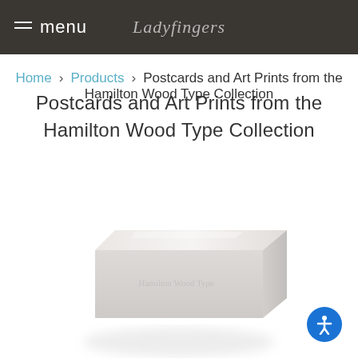menu | Ladyfingers
Home > Products > Postcards and Art Prints from the Hamilton Wood Type Collection
Postcards and Art Prints from the Hamilton Wood Type Collection
[Figure (photo): A blurred/faded white stack of postcards or art prints photographed from a slight angle against a white background]